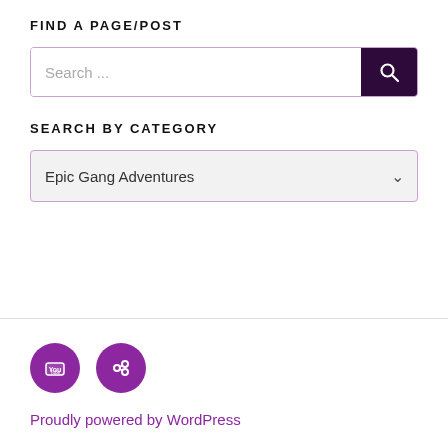FIND A PAGE/POST
[Figure (screenshot): Search input box with placeholder 'Search ...' and a dark purple search button with magnifying glass icon]
SEARCH BY CATEGORY
[Figure (screenshot): Dropdown select box showing 'Epic Gang Adventures' with a chevron/down arrow on the right]
[Figure (other): Two purple circular social media icons: YouTube and a link/chain icon]
Proudly powered by WordPress